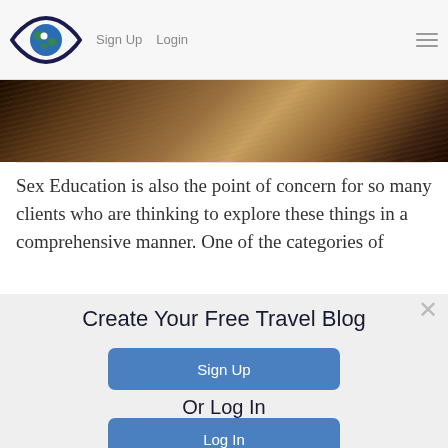Sign Up  Login
[Figure (photo): Close-up photo of a person with long blonde/brown hair against a dark background]
Sex Education is also the point of concern for so many clients who are thinking to explore these things in a comprehensive manner. One of the categories of
Create Your Free Travel Blog
Sign Up
Or Log In
Log In